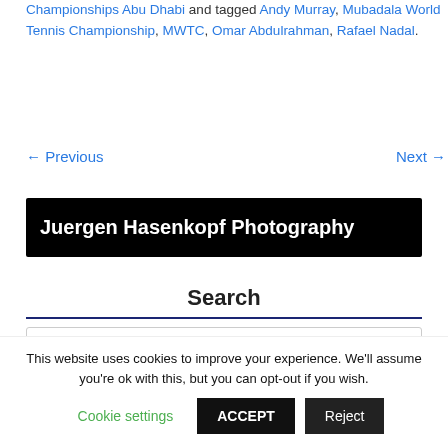Championships Abu Dhabi and tagged Andy Murray, Mubadala World Tennis Championship, MWTC, Omar Abdulrahman, Rafael Nadal.
← Previous   Next →
[Figure (logo): Black banner with white bold text reading 'Juergen Hasenkopf Photography']
Search
Search ...
This website uses cookies to improve your experience. We'll assume you're ok with this, but you can opt-out if you wish. Cookie settings  ACCEPT  Reject